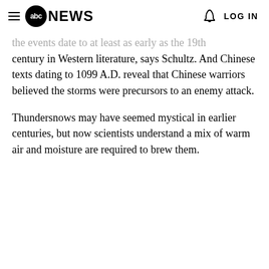abc NEWS   LOG IN
the events date to at least as early as the 19th century in Western literature, says Schultz. And Chinese texts dating to 1099 A.D. reveal that Chinese warriors believed the storms were precursors to an enemy attack.
Thundersnows may have seemed mystical in earlier centuries, but now scientists understand a mix of warm air and moisture are required to brew them.